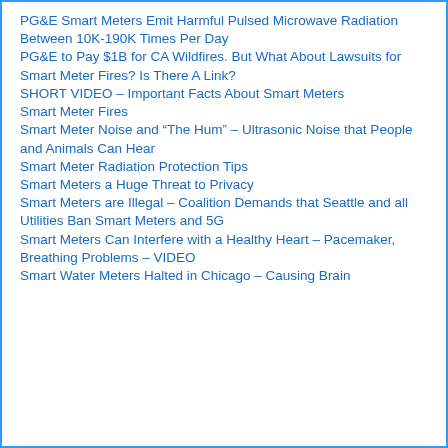PG&E Smart Meters Emit Harmful Pulsed Microwave Radiation Between 10K-190K Times Per Day
PG&E to Pay $1B for CA Wildfires. But What About Lawsuits for Smart Meter Fires? Is There A Link?
SHORT VIDEO – Important Facts About Smart Meters
Smart Meter Fires
Smart Meter Noise and “The Hum” – Ultrasonic Noise that People and Animals Can Hear
Smart Meter Radiation Protection Tips
Smart Meters a Huge Threat to Privacy
Smart Meters are Illegal – Coalition Demands that Seattle and all Utilities Ban Smart Meters and 5G
Smart Meters Can Interfere with a Healthy Heart – Pacemaker, Breathing Problems – VIDEO
Smart Water Meters Halted in Chicago – Causing Brain